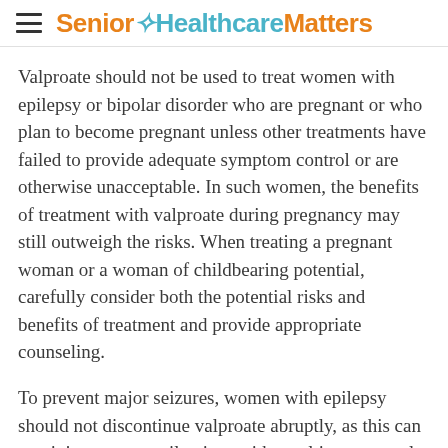Senior HealthcareMatters
Valproate should not be used to treat women with epilepsy or bipolar disorder who are pregnant or who plan to become pregnant unless other treatments have failed to provide adequate symptom control or are otherwise unacceptable. In such women, the benefits of treatment with valproate during pregnancy may still outweigh the risks. When treating a pregnant woman or a woman of childbearing potential, carefully consider both the potential risks and benefits of treatment and provide appropriate counseling.
To prevent major seizures, women with epilepsy should not discontinue valproate abruptly, as this can precipitate status epilepticus with resulting maternal and fetal hypoxia and threat to life. Even minor seizures may pose some hazard to the developing